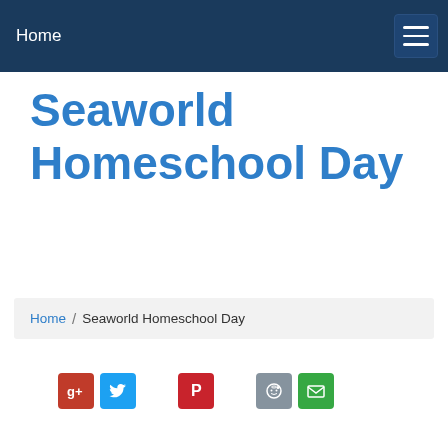Home
Seaworld Homeschool Day
Home / Seaworld Homeschool Day
[Figure (infographic): Social share buttons: Google+, Twitter, Pinterest, Reddit, Email]